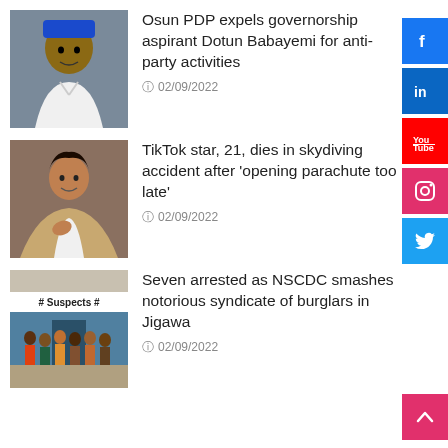[Figure (photo): Portrait photo of a man wearing a blue traditional hat and white outfit]
Osun PDP expels governorship aspirant Dotun Babayemi for anti-party activities
02/09/2022
[Figure (photo): Photo of a young woman smiling, wearing a light beige jacket]
TikTok star, 21, dies in skydiving accident after 'opening parachute too late'
02/09/2022
[Figure (photo): Photo of seven arrested suspects standing in front of a building with a label reading # Suspects #]
Seven arrested as NSCDC smashes notorious syndicate of burglars in Jigawa
02/09/2022